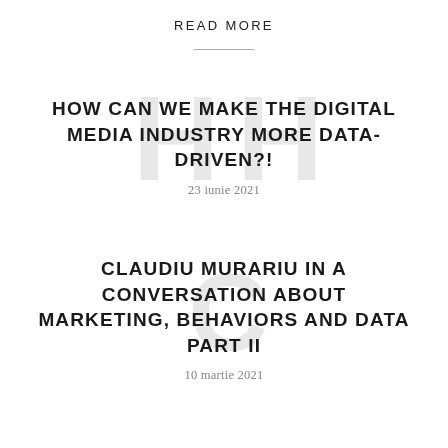READ MORE
HOW CAN WE MAKE THE DIGITAL MEDIA INDUSTRY MORE DATA-DRIVEN?!
23 iunie 2021
CLAUDIU MURARIU IN A CONVERSATION ABOUT MARKETING, BEHAVIORS AND DATA PART II
10 martie 2021